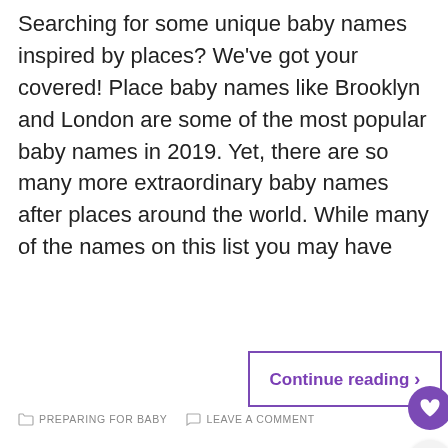Searching for some unique baby names inspired by places? We've got your covered! Place baby names like Brooklyn and London are some of the most popular baby names in 2019. Yet, there are so many more extraordinary baby names after places around the world. While many of the names on this list you may have
Continue reading ›
PREPARING FOR BABY   LEAVE A COMMENT